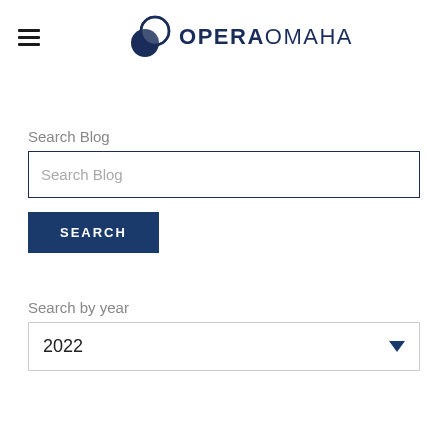[Figure (logo): Opera Omaha logo with two overlapping circles (dark navy and light outline) and the text OPERA OMAHA in navy]
Search Blog
Search Blog (input placeholder)
SEARCH
Search by year
2022